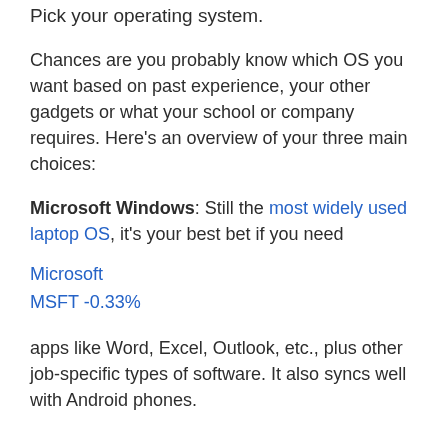Pick your operating system.
Chances are you probably know which OS you want based on past experience, your other gadgets or what your school or company requires. Here's an overview of your three main choices:
Microsoft Windows: Still the most widely used laptop OS, it's your best bet if you need
Microsoft
MSFT -0.33%
apps like Word, Excel, Outlook, etc., plus other job-specific types of software. It also syncs well with Android phones.